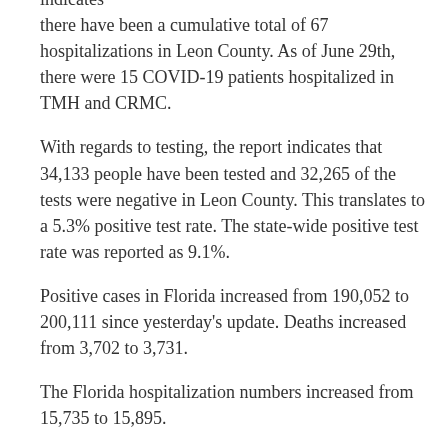indicates there have been a cumulative total of 67 hospitalizations in Leon County. As of June 29th, there were 15 COVID-19 patients hospitalized in TMH and CRMC.
With regards to testing, the report indicates that 34,133 people have been tested and 32,265 of the tests were negative in Leon County. This translates to a 5.3% positive test rate. The state-wide positive test rate was reported as 9.1%.
Positive cases in Florida increased from 190,052 to 200,111 since yesterday's update. Deaths increased from 3,702 to 3,731.
The Florida hospitalization numbers increased from 15,735 to 15,895.
You can review trends of new cases, hospitalizations, and deaths here.